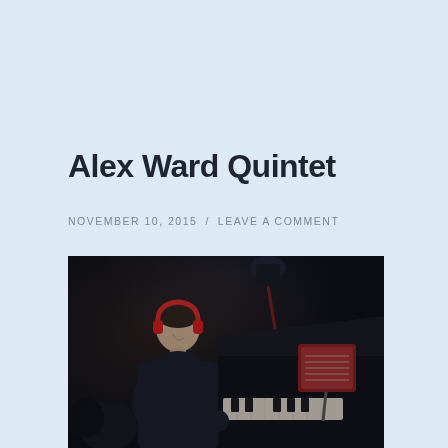Alex Ward Quintet
NOVEMBER 10, 2015 / LEAVE A COMMENT
[Figure (photo): A musician in dark clothing wearing red headphones, leaning over a piano keyboard in a dimly lit venue. A music stand with sheet music is visible on the right side of the piano. Dark atmospheric lighting with warm tones.]